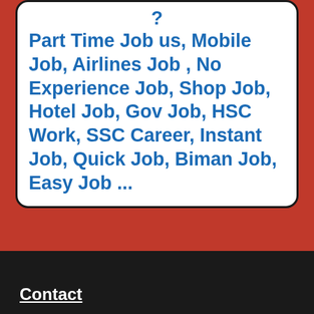? Part Time Job us, Mobile Job, Airlines Job , No Experience Job, Shop Job, Hotel Job, Gov Job, HSC Work, SSC Career, Instant Job, Quick Job, Biman Job, Easy Job ...
[Figure (screenshot): Search bar with placeholder text 'Search ...' and a dark search button with magnifying glass icon]
_______________
Contact